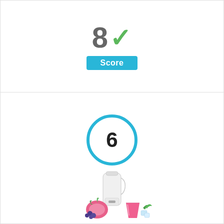[Figure (infographic): Score display showing '8' with a green checkmark and a blue 'Score' badge below]
[Figure (infographic): Blue circle containing the number 6, representing a product score]
[Figure (photo): Photo of a portable blender with fruits (dragon fruit, blueberries), a pink smoothie in a glass, and ice cubes]
Portable Blender Personal Shakes and Smoothies Single Serve for Making Juice, Milk-Shake with 13 oz Travel Blende